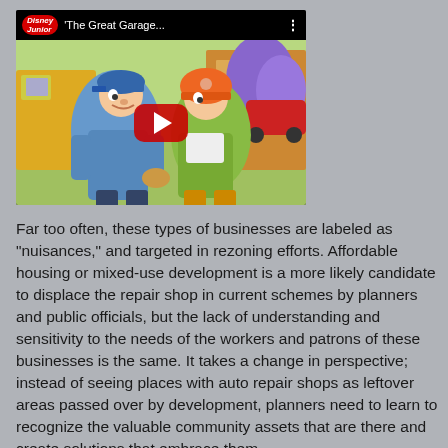[Figure (screenshot): YouTube video thumbnail showing Disney Junior animated show 'The Great Garage...' with two cartoon characters facing each other and a red play button overlay]
Far too often, these types of businesses are labeled as "nuisances," and targeted in rezoning efforts. Affordable housing or mixed-use development is a more likely candidate to displace the repair shop in current schemes by planners and public officials, but the lack of understanding and sensitivity to the needs of the workers and patrons of these businesses is the same. It takes a change in perspective; instead of seeing places with auto repair shops as leftover areas passed over by development, planners need to learn to recognize the valuable community assets that are there and create solutions that embrace them.